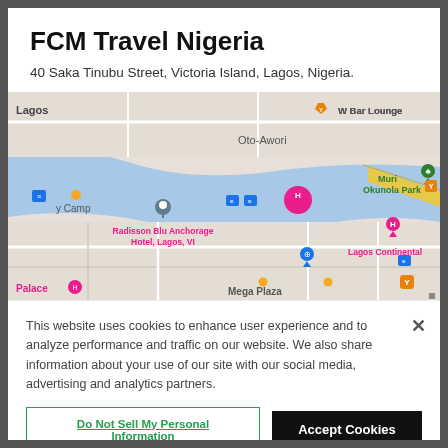FCM Travel Nigeria
40 Saka Tinubu Street, Victoria Island, Lagos, Nigeria.
[Figure (map): Google Maps view showing Victoria Island, Lagos area with landmarks including Radisson Blu Anchorage Hotel Lagos VI, Lagos Continental, Muri Okunola Park, W Bar Lounge, Mega Plaza, and Oto-Awori area with water body visible.]
This website uses cookies to enhance user experience and to analyze performance and traffic on our website. We also share information about your use of our site with our social media, advertising and analytics partners.
Do Not Sell My Personal Information
Accept Cookies